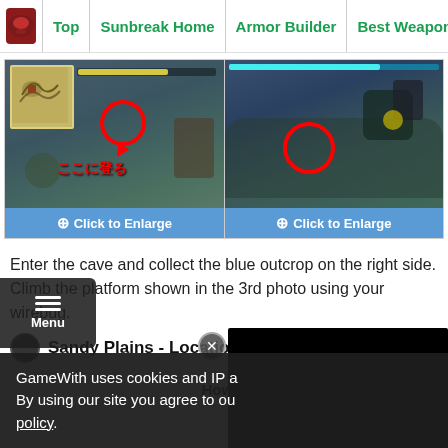Top | Sunbreak Home | Armor Builder | Best Weapons
[Figure (screenshot): Left screenshot: Monster Hunter Rise Sunbreak gameplay showing a character near a climbable ledge with a red circle and arrow indicating 'ここに登る' (Climb here), with a minimap in the upper left corner. Caption bar: Click to Enlarge]
[Figure (screenshot): Right screenshot: Monster Hunter Rise Sunbreak gameplay showing a monster on a rocky outcrop with a red circle highlighting a target. Caption bar: Click to Enlarge]
Enter the cave and collect the blue outcrop on the right side. Climb the platform shown in the 3rd photo using your wirebug.
Sandy Plains - Location 8
How T
GameWith uses cookies and IP a... By using our site you agree to ou... policy.